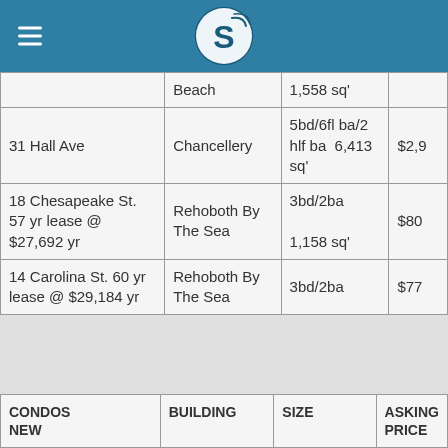S (logo)
| ADDRESS | BUILDING | SIZE | ASKING PRICE |
| --- | --- | --- | --- |
|  | Beach | 1,558 sq' |  |
| 31 Hall Ave | Chancellery | 5bd/6fl ba/2 hlf ba 6,413 sq' | $2,9... |
| 18 Chesapeake St. 57 yr lease @ $27,692 yr | Rehoboth By The Sea | 3bd/2ba 1,158 sq' | $80... |
| 14 Carolina St. 60 yr lease @ $29,184 yr | Rehoboth By The Sea | 3bd/2ba | $77... |
| CONDOS NEW | BUILDING | SIZE | ASKING PRICE |
| --- | --- | --- | --- |